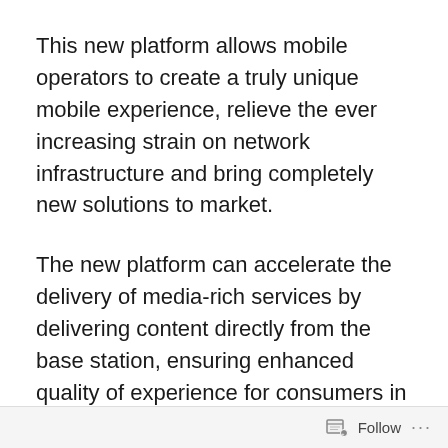This new platform allows mobile operators to create a truly unique mobile experience, relieve the ever increasing strain on network infrastructure and bring completely new solutions to market.
The new platform can accelerate the delivery of media-rich services by delivering content directly from the base station, ensuring enhanced quality of experience for consumers in the face of ever increasing data traffic growth.
The platform also enables a new generation of low-latency services with device presence to be delivered to consumers, creating new possibilities for mobile gaming, augmented reality, smarter traffic and public safety
Follow ···